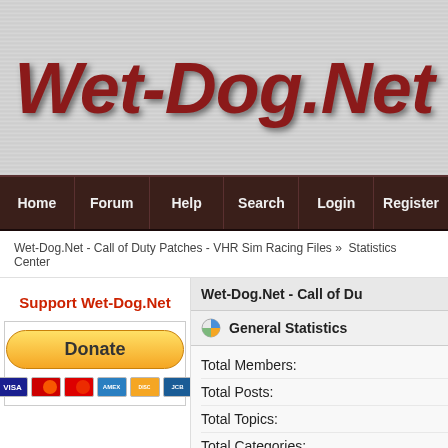Wet-Dog.Net
Home | Forum | Help | Search | Login | Register
Wet-Dog.Net - Call of Duty Patches - VHR Sim Racing Files » Statistics Center
Support Wet-Dog.Net
[Figure (other): PayPal donate button with credit card icons (Visa, Mastercard, Amex, Discover, JCB)]
Wet-Dog.Net - Call of Du
General Statistics
Total Members:
Total Posts:
Total Topics:
Total Categories:
Users Online: